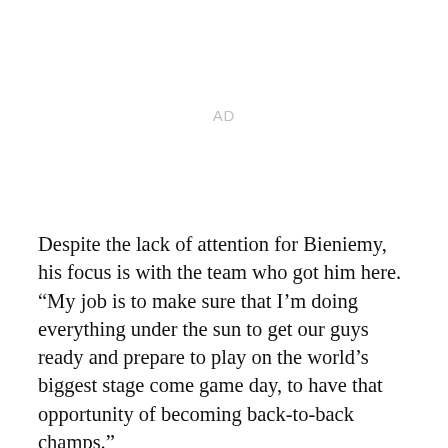[Figure (other): Advertisement placeholder area with 'AD' label in light gray]
Despite the lack of attention for Bieniemy, his focus is with the team who got him here.
“My job is to make sure that I’m doing everything under the sun to get our guys ready and prepare to play on the world’s biggest stage come game day, to have that opportunity of becoming back-to-back champs.”